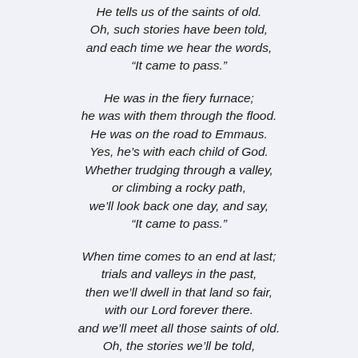He tells us of the saints of old.
Oh, such stories have been told,
and each time we hear the words,
“It came to pass.”
He was in the fiery furnace;
he was with them through the flood.
He was on the road to Emmaus.
Yes, he’s with each child of God.
Whether trudging through a valley,
or climbing a rocky path,
we’ll look back one day, and say,
“It came to pass.”
When time comes to an end at last;
trials and valleys in the past,
then we’ll dwell in that land so fair,
with our Lord forever there.
and we’ll meet all those saints of old.
Oh, the stories we’ll be told,
and each time we’ll hear the words,
“It came to pass.”